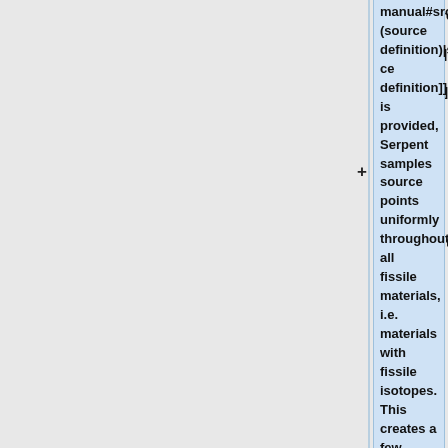manual#src (source definition)|source definition]] is provided, Serpent samples source points uniformly throughout all fissile materials, i.e. materials with fissile isotopes. This creates a few potential problems:
# If the fissile zone covers only a small volume of the total geometry,